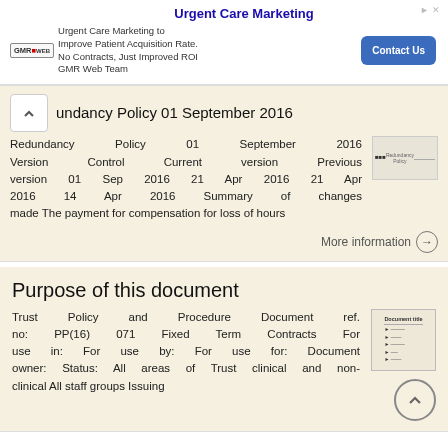[Figure (other): Advertisement banner for Urgent Care Marketing by GMR Web Team with Contact Us button]
Redundancy Policy 01 September 2016
Redundancy Policy 01 September 2016 Version Control Current version Previous version 01 Sep 2016 21 Apr 2016 21 Apr 2016 14 Apr 2016 Summary of changes made The payment for compensation for loss of hours
More information →
Purpose of this document
Trust Policy and Procedure Document ref. no: PP(16) 071 Fixed Term Contracts For use in: For use by: For use for: Document owner: Status: All areas of Trust clinical and non-clinical All staff groups Issuing